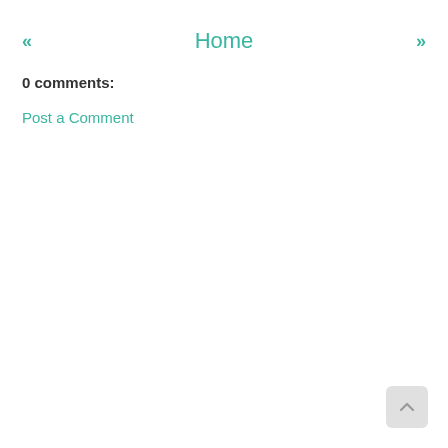« Home »
0 comments:
Post a Comment